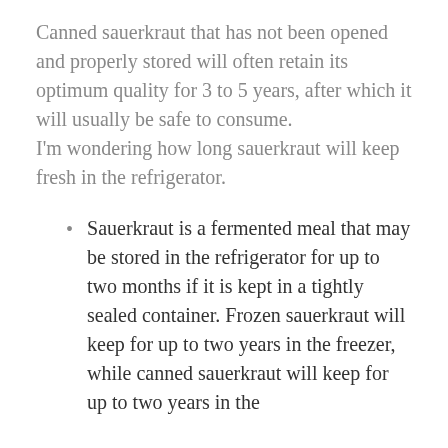Canned sauerkraut that has not been opened and properly stored will often retain its optimum quality for 3 to 5 years, after which it will usually be safe to consume.
I'm wondering how long sauerkraut will keep fresh in the refrigerator.
Sauerkraut is a fermented meal that may be stored in the refrigerator for up to two months if it is kept in a tightly sealed container. Frozen sauerkraut will keep for up to two years in the freezer, while canned sauerkraut will keep for up to two years in the